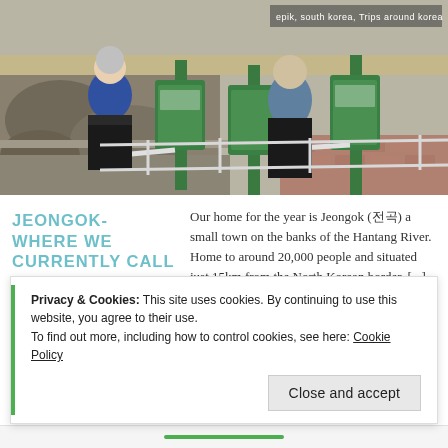[Figure (photo): Two women on scooter exercise machines outdoors, with green turnstile-style equipment. Rocky terrain on the left, brick path on the right. Text overlay in top-right: 'epik, south korea, Trips around korea']
JEONGOK- WHERE WE CURRENTLY CALL HOME
April 18, 2016
Leave a comment
Our home for the year is Jeongok (전곡) a small town on the banks of the Hantang River. Home to around 20,000 people and situated just 15km from the North Korean border, [...]
Privacy & Cookies: This site uses cookies. By continuing to use this website, you agree to their use.
To find out more, including how to control cookies, see here: Cookie Policy
Close and accept